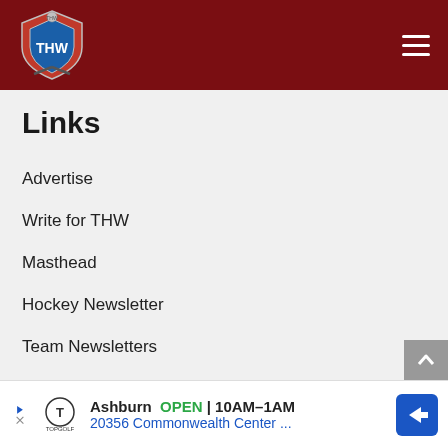THW (The Hockey Writers) site header with logo and hamburger menu
Links
Advertise
Write for THW
Masthead
Hockey Newsletter
Team Newsletters
RSS Feeds
Privacy Statement
Contact Us
[Figure (infographic): Advertisement banner: Topgolf Ashburn OPEN 10AM–1AM, 20356 Commonwealth Center... with play button, Topgolf logo, and navigation arrow icon]